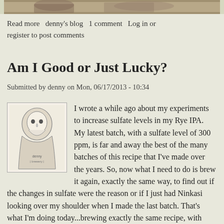[Figure (photo): Top photo strip showing partial image of people]
Read more  denny's blog  1 comment  Log in or register to post comments
Am I Good or Just Lucky?
Submitted by denny on Mon, 06/17/2013 - 10:34
I wrote a while ago about my experiments to increase sulfate levels in my Rye IPA. My latest batch, with a sulfate level of 300 ppm, is far and away the best of the many batches of this recipe that I've made over the years. So, now what I need to do is brew it again, exactly the same way, to find out if the changes in sulfate were the reason or if I just had Ninkasi looking over my shoulder when I made the last batch. That's what I'm doing today...brewing exactly the same recipe, with exactly the same ingredients, down to the same bags